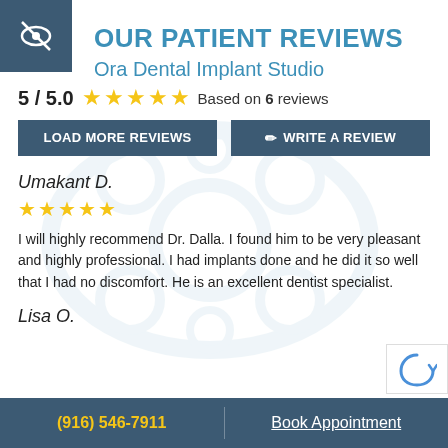[Figure (logo): Dark teal square icon with eye-cross symbol in top-left corner]
OUR PATIENT REVIEWS
Ora Dental Implant Studio
5 / 5.0 ★★★★★ Based on 6 reviews
LOAD MORE REVIEWS | ✏ WRITE A REVIEW
Umakant D.
★★★★★
I will highly recommend Dr. Dalla. I found him to be very pleasant and highly professional. I had implants done and he did it so well that I had no discomfort. He is an excellent dentist specialist.
Lisa O.
(916) 546-7911   Book Appointment